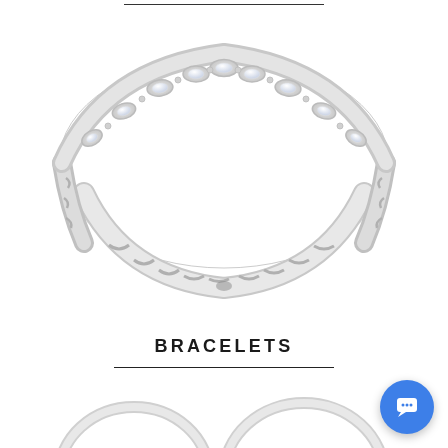[Figure (photo): A delicate silver/white gold diamond band ring with marquise-shaped settings containing small diamonds along the top half, and a twisted/braided band on the bottom half, photographed on a white background.]
BRACELETS
[Figure (photo): Partial view of two silver bracelets at the bottom of the page, cropped.]